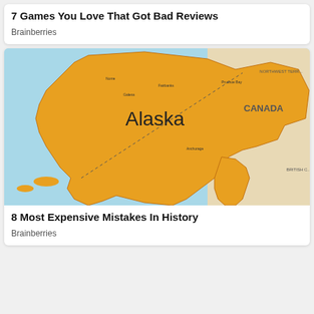7 Games You Love That Got Bad Reviews
Brainberries
[Figure (map): Map of Alaska showing the state highlighted in orange/gold with surrounding Canadian territories and Bering Sea, with city labels and geographic features.]
8 Most Expensive Mistakes In History
Brainberries